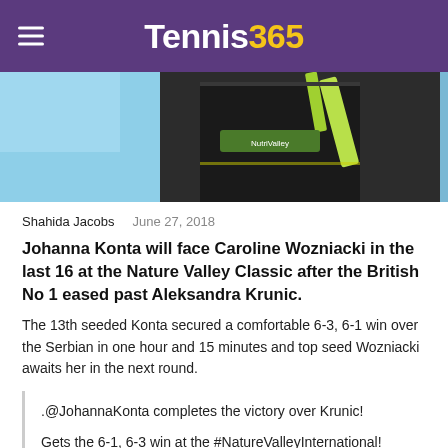Tennis365
[Figure (photo): A tennis player in a black outfit holding a racket, photographed outdoors with a blue sky background]
Shahida Jacobs   June 27, 2018
Johanna Konta will face Caroline Wozniacki in the last 16 at the Nature Valley Classic after the British No 1 eased past Aleksandra Krunic.
The 13th seeded Konta secured a comfortable 6-3, 6-1 win over the Serbian in one hour and 15 minutes and top seed Wozniacki awaits her in the next round.
.@JohannaKonta completes the victory over Krunic!

Gets the 6-1, 6-3 win at the #NatureValleyInternational! pic.twitter.com/DJknGsTwr1